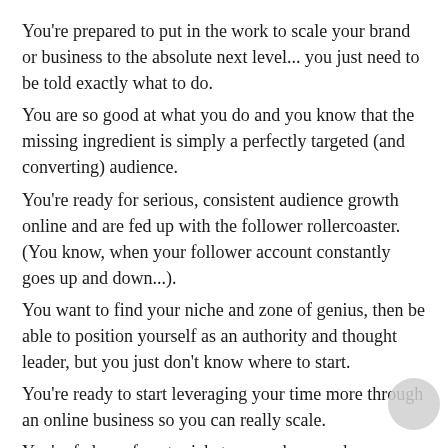You're prepared to put in the work to scale your brand or business to the absolute next level... you just need to be told exactly what to do.
You are so good at what you do and you know that the missing ingredient is simply a perfectly targeted (and converting) audience.
You're ready for serious, consistent audience growth online and are fed up with the follower rollercoaster. (You know, when your follower account constantly goes up and down...).
You want to find your niche and zone of genius, then be able to position yourself as an authority and thought leader, but you just don't know where to start.
You're ready to start leveraging your time more through an online business so you can really scale.
You're fed up of post crickets... you know, when you post and no one engages or buys and you totally feel like you're wasting your time.
You're ready to learn how to grow your audience organically with paying clients (no bots or ad spend required). You're fed up with